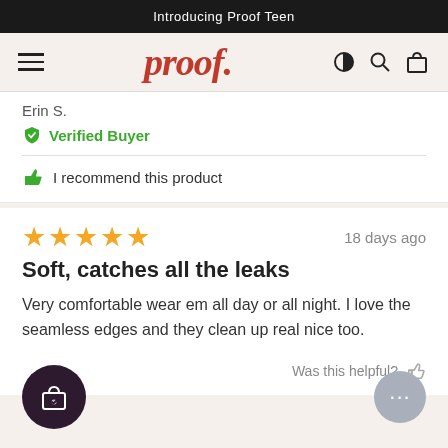Introducing Proof Teen
[Figure (screenshot): proof. brand logo in red serif italic font with hamburger menu icon on left and icons (contrast, search, bag) on right]
Erin S.
Verified Buyer
I recommend this product
18 days ago
Soft, catches all the leaks
Very comfortable wear em all day or all night. I love the seamless edges and they clean up real nice too.
Was this helpful?